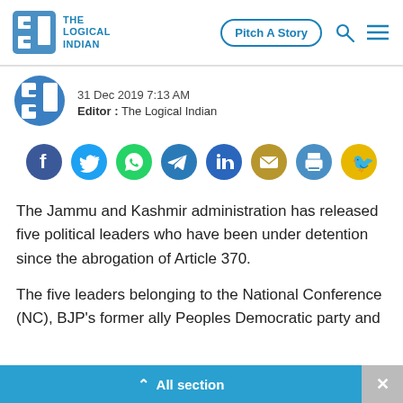[Figure (logo): The Logical Indian logo with blue square icon and text THE LOGICAL INDIAN]
31 Dec 2019 7:13 AM
Editor : The Logical Indian
[Figure (infographic): Social sharing icons row: Facebook, Twitter, WhatsApp, Telegram, LinkedIn, Email, Print, ShareChat]
The Jammu and Kashmir administration has released five political leaders who have been under detention since the abrogation of Article 370.
The five leaders belonging to the National Conference (NC), BJP's former ally Peoples Democratic party and Congress
All section  ×